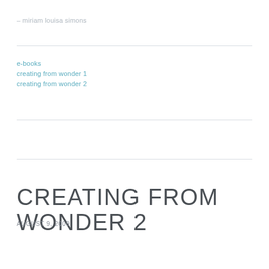– miriam louisa simons
e-books
creating from wonder 1
creating from wonder 2
CREATING FROM WONDER 2
AUGUST 9, 2009